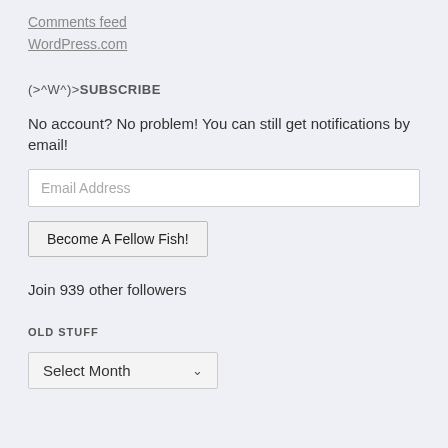Comments feed
WordPress.com
(>^W^)>SUBSCRIBE
No account? No problem! You can still get notifications by email!
Email Address
Become A Fellow Fish!
Join 939 other followers
OLD STUFF
Select Month